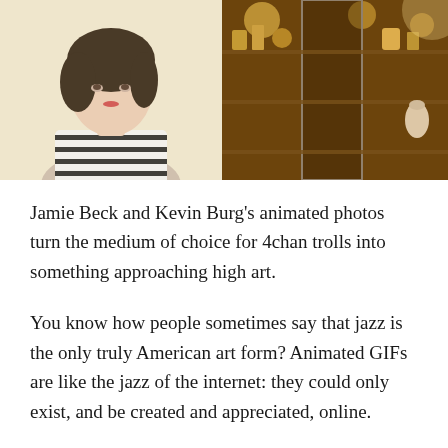[Figure (photo): Two side-by-side photos: left shows a young woman with dark hair wearing a striped shirt against a light background; right shows a warmly-lit antique shop or curio store interior with shelves of objects.]
Jamie Beck and Kevin Burg's animated photos turn the medium of choice for 4chan trolls into something approaching high art.
You know how people sometimes say that jazz is the only truly American art form? Animated GIFs are like the jazz of the internet: they could only exist, and be created and appreciated, online.
That said, PopTart Cat is not exactly on par with Thelonious Monk. But photographer Jamie Beck and